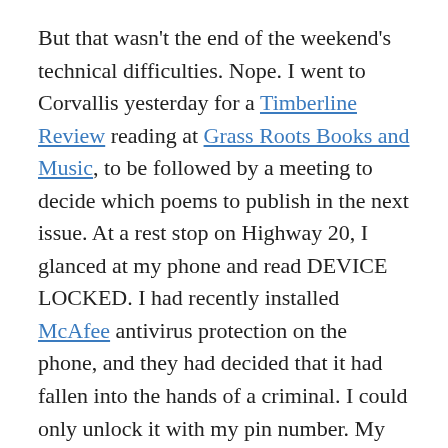But that wasn't the end of the weekend's technical difficulties. Nope. I went to Corvallis yesterday for a Timberline Review reading at Grass Roots Books and Music, to be followed by a meeting to decide which poems to publish in the next issue. At a rest stop on Highway 20, I glanced at my phone and read DEVICE LOCKED. I had recently installed McAfee antivirus protection on the phone, and they had decided that it had fallen into the hands of a criminal. I could only unlock it with my pin number. My pin number was at home. I could not use my phone for five hours. At home last night, I found the pin, got into the phone and uninstalled that SOB program. I can't believe an outside force could keep me from my own